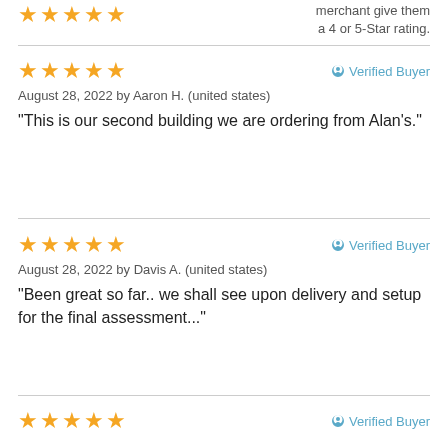merchant give them a 4 or 5-Star rating.
★★★★★  Verified Buyer
August 28, 2022 by Aaron H. (united states)
"This is our second building we are ordering from Alan's."
★★★★★  Verified Buyer
August 28, 2022 by Davis A. (united states)
"Been great so far.. we shall see upon delivery and setup for the final assessment..."
★★★★★  Verified Buyer